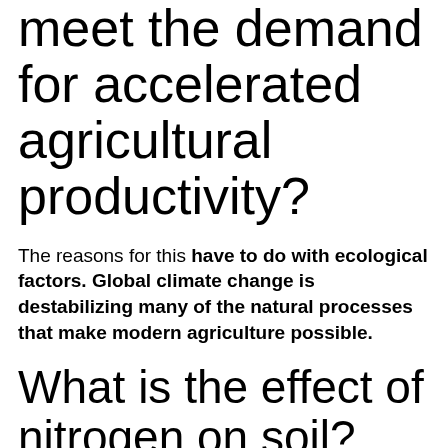meet the demand for accelerated agricultural productivity?
The reasons for this have to do with ecological factors. Global climate change is destabilizing many of the natural processes that make modern agriculture possible.
What is the effect of nitrogen on soil?
In addition, fertilizer application in soil